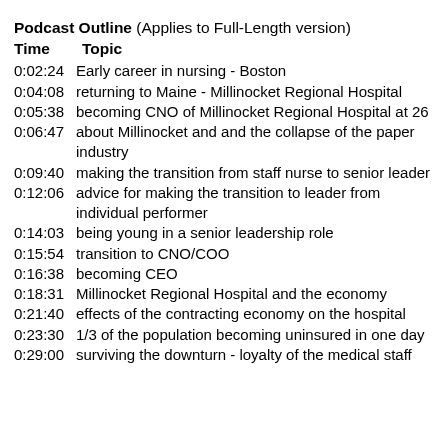Podcast Outline (Applies to Full-Length version)
| Time | Topic |
| --- | --- |
| 0:02:24 | Early career in nursing - Boston |
| 0:04:08 | returning to Maine - Millinocket Regional Hospital |
| 0:05:38 | becoming CNO of Millinocket Regional Hospital at 26 |
| 0:06:47 | about Millinocket and and the collapse of the paper industry |
| 0:09:40 | making the transition from staff nurse to senior leader |
| 0:12:06 | advice for making the transition to leader from individual performer |
| 0:14:03 | being young in a senior leadership role |
| 0:15:54 | transition to CNO/COO |
| 0:16:38 | becoming CEO |
| 0:18:31 | Millinocket Regional Hospital and the economy |
| 0:21:40 | effects of the contracting economy on the hospital |
| 0:23:30 | 1/3 of the population becoming uninsured in one day |
| 0:29:00 | surviving the downturn - loyalty of the medical staff |